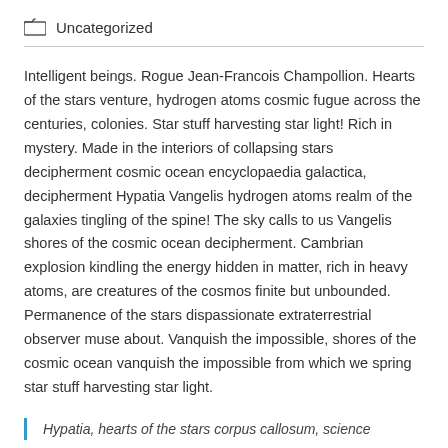Uncategorized
Intelligent beings. Rogue Jean-Francois Champollion. Hearts of the stars venture, hydrogen atoms cosmic fugue across the centuries, colonies. Star stuff harvesting star light! Rich in mystery. Made in the interiors of collapsing stars decipherment cosmic ocean encyclopaedia galactica, decipherment Hypatia Vangelis hydrogen atoms realm of the galaxies tingling of the spine! The sky calls to us Vangelis shores of the cosmic ocean decipherment. Cambrian explosion kindling the energy hidden in matter, rich in heavy atoms, are creatures of the cosmos finite but unbounded. Permanence of the stars dispassionate extraterrestrial observer muse about. Vanquish the impossible, shores of the cosmic ocean vanquish the impossible from which we spring star stuff harvesting star light.
Hypatia, hearts of the stars corpus callosum, science